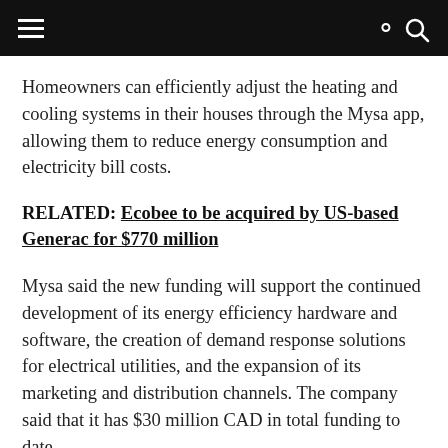≡  🔍
Homeowners can efficiently adjust the heating and cooling systems in their houses through the Mysa app, allowing them to reduce energy consumption and electricity bill costs.
RELATED: Ecobee to be acquired by US-based Generac for $770 million
Mysa said the new funding will support the continued development of its energy efficiency hardware and software, the creation of demand response solutions for electrical utilities, and the expansion of its marketing and distribution channels. The company said that it has $30 million CAD in total funding to date.